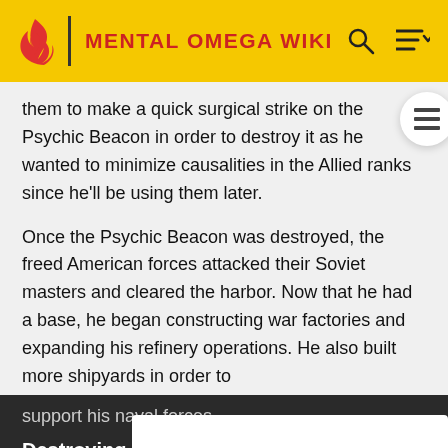MENTAL OMEGA WIKI
them to make a quick surgical strike on the Psychic Beacon in order to destroy it as he wanted to minimize causalities in the Allied ranks since he'll be using them later.
Once the Psychic Beacon was destroyed, the freed American forces attacked their Soviet masters and cleared the harbor. Now that he had a base, he began constructing war factories and expanding his refinery operations. He also built more shipyards in order to support his naval forces.
Destroying the Psychic Amplifier:
Allied Intel soon gave the location of the Psychic Amplifier, located a short distance from the Commander's